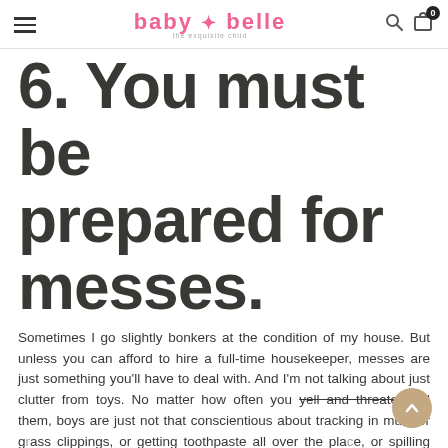baby belle the exquisite child — navigation header with logo, search, and cart icons
6. You must be prepared for messes.
Sometimes I go slightly bonkers at the condition of my house. But unless you can afford to hire a full-time housekeeper, messes are just something you'll have to deal with. And I'm not talking about just clutter from toys. No matter how often you yell and threaten tell them, boys are just not that conscientious about tracking in mud, or grass clippings, or getting toothpaste all over the place, or spilling milk and then maaaybe half-